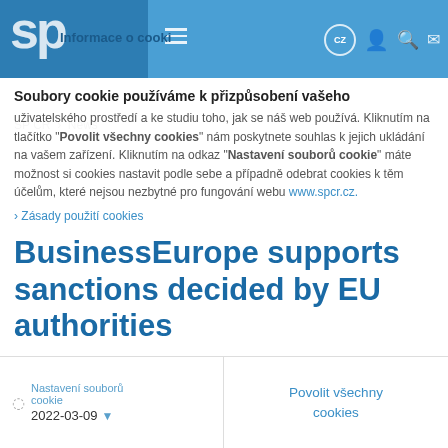SP CZ — Navigation header with logo, hamburger menu, CZ language selector, user icon, search icon, email icon
Informace o cookies
Soubory cookie používáme k přizpůsobení vašeho uživatelského prostředí a ke studiu toho, jak se náš web používá. Kliknutím na tlačítko "Povolit všechny cookies" nám poskytnete souhlas k jejich ukládání na vašem zařízení. Kliknutím na odkaz "Nastavení souborů cookie" máte možnost si cookies nastavit podle sebe a případně odebrat cookies k těm účelům, které nejsou nezbytné pro fungování webu www.spcr.cz.
SP ČR › News
BusinessEurope supports sanctions decided by EU authorities
2022-03-09
Nastavení souborů cookie
Povolit všechny cookies
Zásady použití cookies